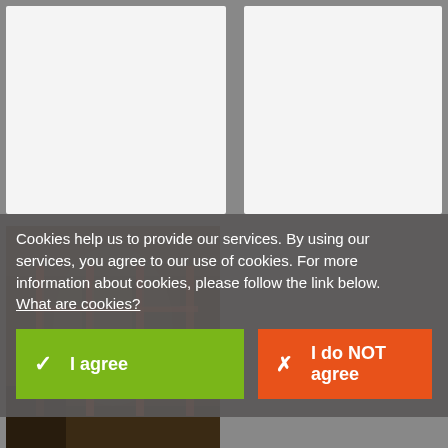[Figure (screenshot): Two light gray document panels side by side on a gray background, representing a browser or document viewer interface]
[Figure (photo): Warehouse interior photo with metal shelving racks and red pillars visible in the bottom-left area]
Cookies help us to provide our services. By using our services, you agree to our use of cookies. For more information about cookies, please follow the link below. What are cookies?
✔ I agree
✖ I do NOT agree